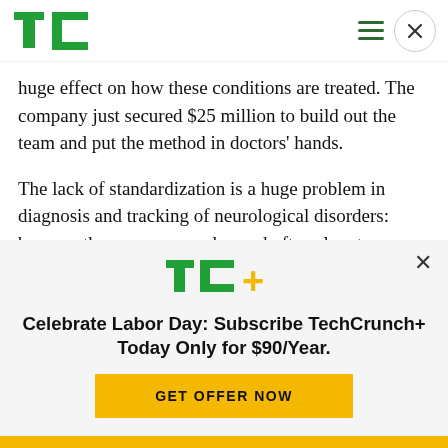TechCrunch logo, hamburger menu, close button
huge effect on how these conditions are treated. The company just secured $25 million to build out the team and put the method in doctors' hands.
The lack of standardization is a huge problem in diagnosis and tracking of neurological disorders: because they are so complex and often slow to develop, it is extremely difficult for a single
[Figure (logo): TechCrunch+ (TC+) logo in green and yellow]
Celebrate Labor Day: Subscribe TechCrunch+ Today Only for $90/Year.
GET OFFER NOW